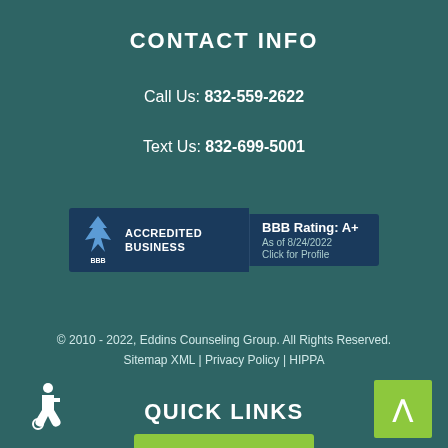CONTACT INFO
Call Us: 832-559-2622
Text Us: 832-699-5001
[Figure (logo): BBB Accredited Business badge with flame logo, rating A+, as of 8/24/2022, Click for Profile]
© 2010 - 2022, Eddins Counseling Group. All Rights Reserved.
Sitemap XML | Privacy Policy | HIPPA
QUICK LINKS